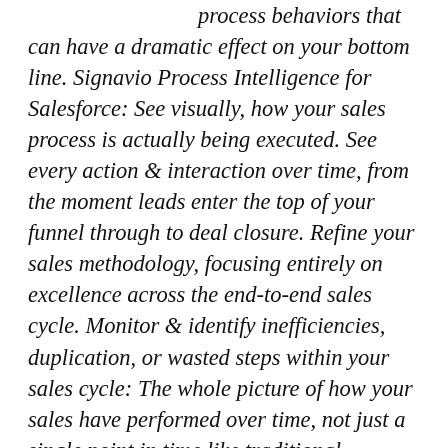process behaviors that can have a dramatic effect on your bottom line. Signavio Process Intelligence for Salesforce: See visually, how your sales process is actually being executed. See every action & interaction over time, from the moment leads enter the top of your funnel through to deal closure. Refine your sales methodology, focusing entirely on excellence across the end-to-end sales cycle. Monitor & identify inefficiencies, duplication, or wasted steps within your sales cycle: The whole picture of how your sales have performed over time, not just a single point in time like traditional business intelligence. Taking this historical view is crucial to understanding how to improve the way you're selling & continuously upskill your sales team. Signavio ANZ PTY LTD,